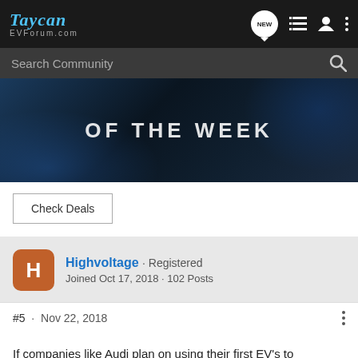Taycan EVForum.com
Search Community
[Figure (photo): Banner image showing partial text 'OF THE WEEK' over a dark blue automotive interior/exterior photo]
Check Deals
Highvoltage · Registered
Joined Oct 17, 2018 · 102 Posts
#5 · Nov 22, 2018
If companies like Audi plan on using their first EV's to introduce digital side mirrors, then I expect Porsche will implement quite a